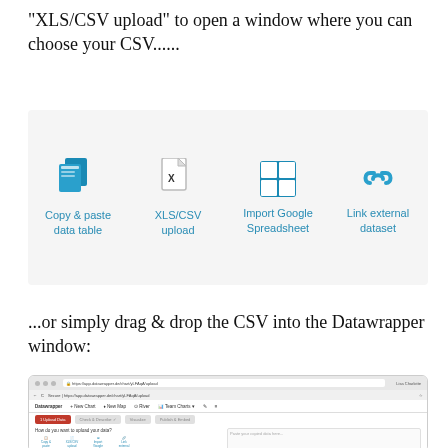"XLS/CSV upload" to open a window where you can choose your CSV......
[Figure (screenshot): Upload options panel showing four icons: Copy & paste data table, XLS/CSV upload, Import Google Spreadsheet, Link external dataset, on a light gray background.]
...or simply drag & drop the CSV into the Datawrapper window:
[Figure (screenshot): Screenshot of Datawrapper browser window showing the Upload Data step interface with upload options and a paste area.]